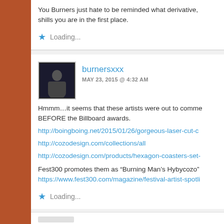You Burners just hate to be reminded what derivative, shills you are in the first place.
Loading...
burnersxxx
MAY 23, 2015 @ 4:32 AM
Hmmm…it seems that these artists were out to comme BEFORE the Billboard awards.
http://boingboing.net/2015/01/26/gorgeous-laser-cut-c
http://cozodesign.com/collections/all
http://cozodesign.com/products/hexagon-coasters-set-
Fest300 promotes them as “Burning Man’s Hybycozo” https://www.fest300.com/magazine/festival-artist-spotli
Loading...